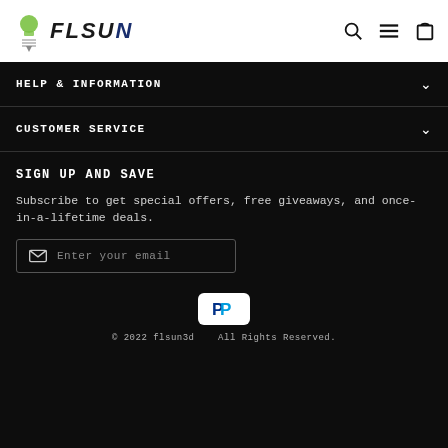[Figure (logo): FLSUN 3D printer logo with green lightbulb/printer icon and bold italic FLSUN text]
HELP & INFORMATION
CUSTOMER SERVICE
SIGN UP AND SAVE
Subscribe to get special offers, free giveaways, and once-in-a-lifetime deals.
Enter your email
[Figure (logo): PayPal logo button, white background with blue PayPal P icon]
© 2022 flsun3d   All Rights Reserved.